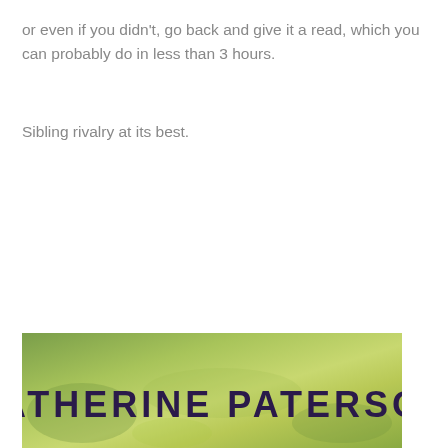or even if you didn't, go back and give it a read, which you can probably do in less than 3 hours.
Sibling rivalry at its best.
[Figure (photo): Book cover showing author name KATHERINE PATERSON in large bold dark purple text on a green/yellow-green background]